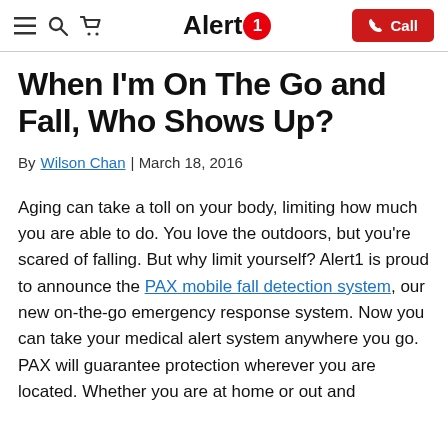Alert1 | Call
When I'm On The Go and Fall, Who Shows Up?
By Wilson Chan | March 18, 2016
Aging can take a toll on your body, limiting how much you are able to do. You love the outdoors, but you're scared of falling. But why limit yourself? Alert1 is proud to announce the PAX mobile fall detection system, our new on-the-go emergency response system. Now you can take your medical alert system anywhere you go. PAX will guarantee protection wherever you are located. Whether you are at home or out and